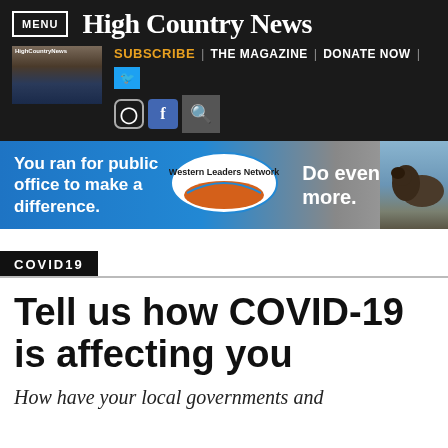High Country News
[Figure (screenshot): Navigation bar with MENU button, High Country News logo, subscribe/magazine/donate links, social icons (Instagram, Facebook, Twitter), and search]
[Figure (infographic): Advertisement banner: You ran for public office to make a difference. Western Leaders Network. Do even more. With bison image.]
COVID19
Tell us how COVID-19 is affecting you
How have your local governments and